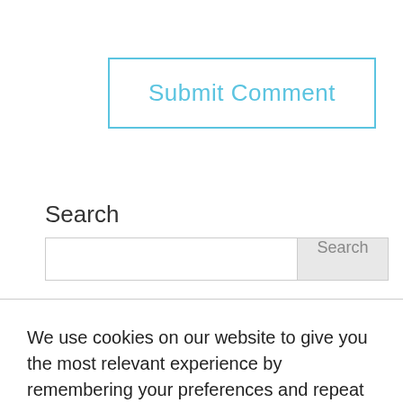[Figure (other): Submit Comment button with blue border and blue text]
Search
[Figure (other): Search input box with Search button on the right]
We use cookies on our website to give you the most relevant experience by remembering your preferences and repeat visits. By clicking "Accept All", you consent to the use of ALL the cookies. However, you may visit "Cookie Settings" to provide a controlled consent.
[Figure (other): Cookie Settings button (gray) and Accept All button (green)]